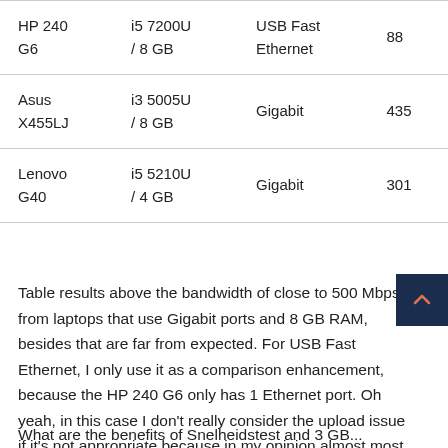| Model | Processor / RAM | Network | Score |
| --- | --- | --- | --- |
| HP 240 G6 | i5 7200U / 8 GB | USB Fast Ethernet | 88 |
| Asus X455LJ | i3 5005U / 8 GB | Gigabit | 435 |
| Lenovo G40 | i5 5210U / 4 GB | Gigabit | 301 |
Table results above the bandwidth of close to 500 Mbps from laptops that use Gigabit ports and 8 GB RAM, besides that are far from expected. For USB Fast Ethernet, I only use it as a comparison enhancement, because the HP 240 G6 only has 1 Ethernet port. Oh yeah, in this case I don't really consider the upload issue if it's not appropriate because in my opinion almost most internet users download more than upload.
What are the benefits of Snelheidstest and 3 GB...